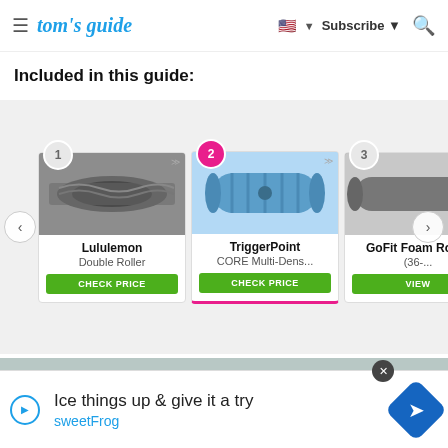tom's guide | Subscribe | Search
Included in this guide:
[Figure (screenshot): Carousel of foam roller products: 1) Lululemon Double Roller CHECK PRICE, 2) TriggerPoint CORE Multi-Dens... CHECK PRICE (active/selected, pink highlight), 3) GoFit Foam Roller (36-... VIEW, 4) partial item visible (Run...)]
[Figure (photo): Close-up photo of a white foam roller on a wooden floor surface, partially visible]
Ice things up & give it a try
sweetFrog